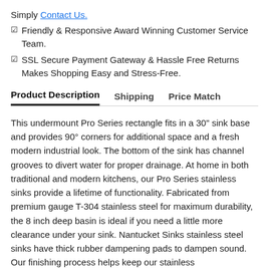Simply Contact Us.
☑ Friendly & Responsive Award Winning Customer Service Team.
☑ SSL Secure Payment Gateway & Hassle Free Returns Makes Shopping Easy and Stress-Free.
Product Description   Shipping   Price Match
This undermount Pro Series rectangle fits in a 30" sink base and provides 90° corners for additional space and a fresh modern industrial look. The bottom of the sink has channel grooves to divert water for proper drainage. At home in both traditional and modern kitchens, our Pro Series stainless sinks provide a lifetime of functionality. Fabricated from premium gauge T-304 stainless steel for maximum durability, the 8 inch deep basin is ideal if you need a little more clearance under your sink. Nantucket Sinks stainless steel sinks have thick rubber dampening pads to dampen sound. Our finishing process helps keep our stainless